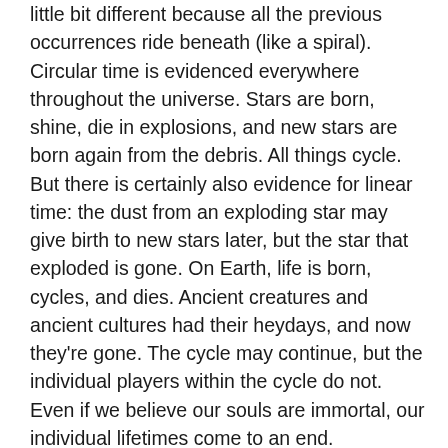little bit different because all the previous occurrences ride beneath (like a spiral). Circular time is evidenced everywhere throughout the universe. Stars are born, shine, die in explosions, and new stars are born again from the debris. All things cycle. But there is certainly also evidence for linear time: the dust from an exploding star may give birth to new stars later, but the star that exploded is gone. On Earth, life is born, cycles, and dies. Ancient creatures and ancient cultures had their heydays, and now they're gone. The cycle may continue, but the individual players within the cycle do not. Even if we believe our souls are immortal, our individual lifetimes come to an end.
So it seems that both linear and nonlinear views